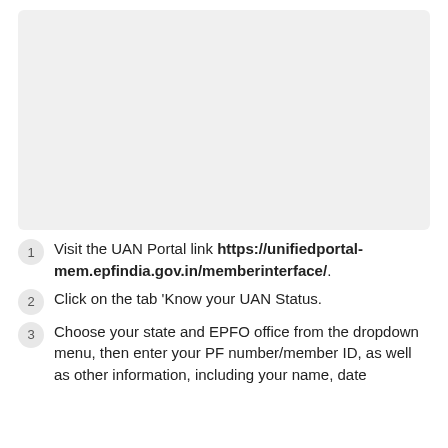[Figure (screenshot): Screenshot or image placeholder showing a UI or portal interface]
Visit the UAN Portal link https://unifiedportal-mem.epfindia.gov.in/memberinterface/.
Click on the tab 'Know your UAN Status.
Choose your state and EPFO office from the dropdown menu, then enter your PF number/member ID, as well as other information, including your name, date